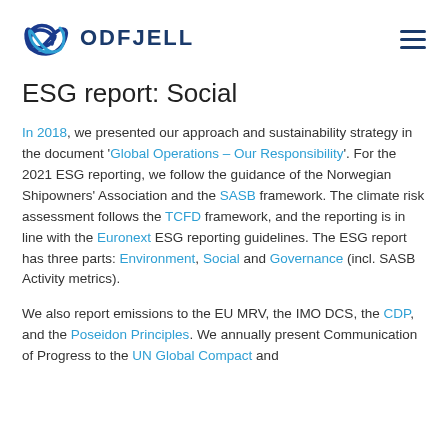ODFJELL
ESG report: Social
In 2018, we presented our approach and sustainability strategy in the document 'Global Operations – Our Responsibility'. For the 2021 ESG reporting, we follow the guidance of the Norwegian Shipowners' Association and the SASB framework. The climate risk assessment follows the TCFD framework, and the reporting is in line with the Euronext ESG reporting guidelines. The ESG report has three parts: Environment, Social and Governance (incl. SASB Activity metrics).
We also report emissions to the EU MRV, the IMO DCS, the CDP, and the Poseidon Principles. We annually present Communication of Progress to the UN Global Compact and